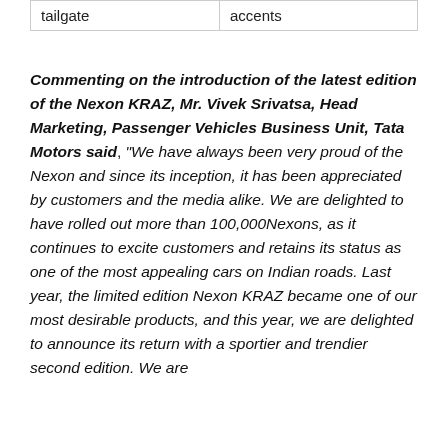| tailgate | accents |
Commenting on the introduction of the latest edition of the Nexon KRAZ, Mr. Vivek Srivatsa, Head Marketing, Passenger Vehicles Business Unit, Tata Motors said, “We have always been very proud of the Nexon and since its inception, it has been appreciated by customers and the media alike. We are delighted to have rolled out more than 100,000Nexons, as it continues to excite customers and retains its status as one of the most appealing cars on Indian roads. Last year, the limited edition Nexon KRAZ became one of our most desirable products, and this year, we are delighted to announce its return with a sportier and trendier second edition. We are